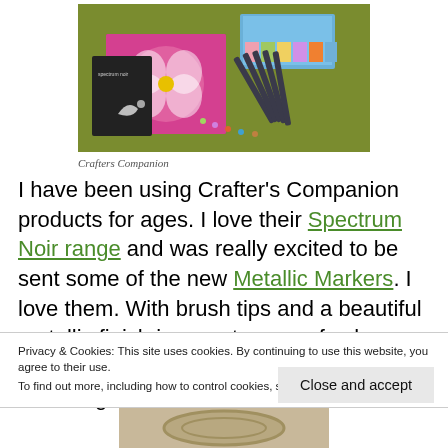[Figure (photo): Photo of Crafter's Companion crafting supplies on a green table: coloring books with butterfly/flower designs, washi tape, and metallic marker pens]
Crafters Companion
I have been using Crafter's Companion products for ages. I love their Spectrum Noir range and was really excited to be sent some of the new Metallic Markers. I love them. With brush tips and a beautiful metallic finish in a vast range of colours these really make my cards pop and colouring is a
Privacy & Cookies: This site uses cookies. By continuing to use this website, you agree to their use.
To find out more, including how to control cookies, see here: Cookie Policy
Close and accept